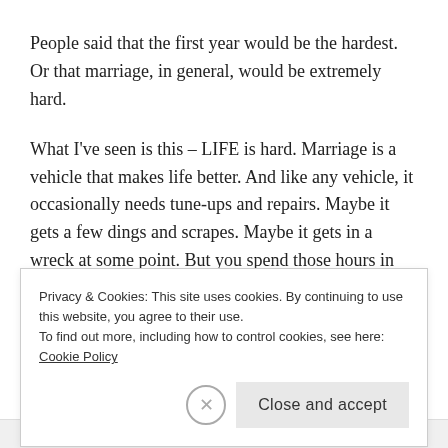People said that the first year would be the hardest. Or that marriage, in general, would be extremely hard.
What I've seen is this – LIFE is hard. Marriage is a vehicle that makes life better. And like any vehicle, it occasionally needs tune-ups and repairs. Maybe it gets a few dings and scrapes. Maybe it gets in a wreck at some point. But you spend those hours in the garage applying
Privacy & Cookies: This site uses cookies. By continuing to use this website, you agree to their use.
To find out more, including how to control cookies, see here: Cookie Policy